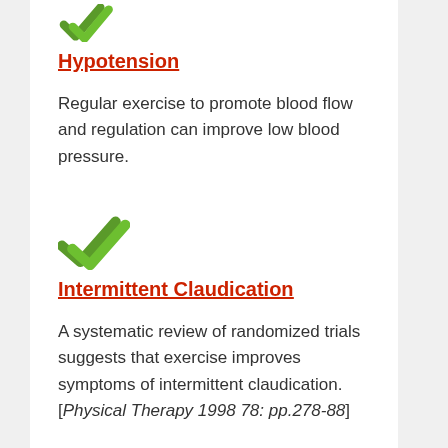[Figure (illustration): Green double checkmark icon]
Hypotension
Regular exercise to promote blood flow and regulation can improve low blood pressure.
[Figure (illustration): Green double checkmark icon]
Intermittent Claudication
A systematic review of randomized trials suggests that exercise improves symptoms of intermittent claudication. [Physical Therapy 1998 78: pp.278-88]